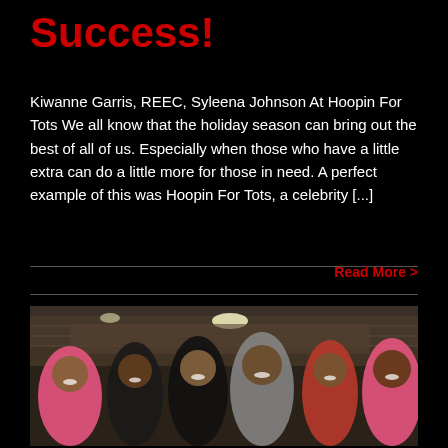Success!
Kiwanne Garris, REEC, Syleena Johnson At Hoopin For Tots We all know that the holiday season can bring out the best of all of us. Especially when those who have a little extra can do a little more for those in need. A perfect example of this was Hoopin For Tots, a celebrity [...]
Read More >
[Figure (photo): Group of people posing for a selfie photo at an indoor sports arena/gymnasium event, with several individuals wearing pink jerseys, taken at what appears to be the Hoopin For Tots celebrity basketball event.]